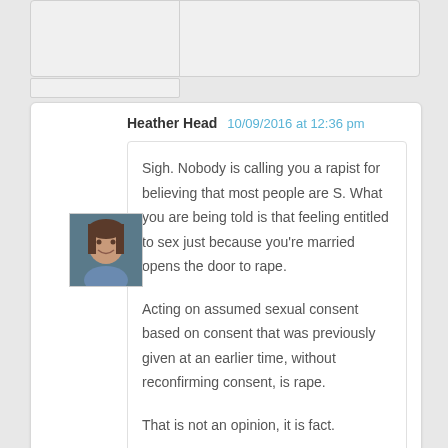Heather Head
10/09/2016 at 12:36 pm
Sigh. Nobody is calling you a rapist for believing that most people are S. What you are being told is that feeling entitled to sex just because you're married opens the door to rape.
Acting on assumed sexual consent based on consent that was previously given at an earlier time, without reconfirming consent, is rape.
That is not an opinion, it is fact.
Huffing out of the conversation because someone defined rape and it hurts your feelings is childish.